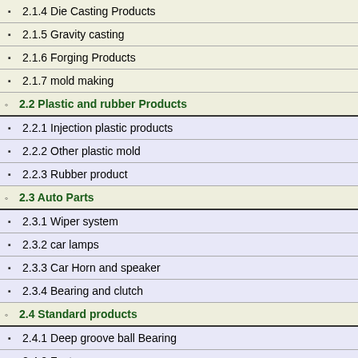2.1.4 Die Casting Products
2.1.5 Gravity casting
2.1.6 Forging Products
2.1.7 mold making
2.2 Plastic and rubber Products
2.2.1 Injection plastic products
2.2.2 Other plastic mold
2.2.3 Rubber product
2.3 Auto Parts
2.3.1 Wiper system
2.3.2 car lamps
2.3.3 Car Horn and speaker
2.3.4 Bearing and clutch
2.4 Standard products
2.4.1 Deep groove ball Bearing
2.4.2 Fasteners
2.4.3 Hose clamps
2.4.4 Shelf bracket...
Steel side ZZ Deep groove ball bea
Contact Us